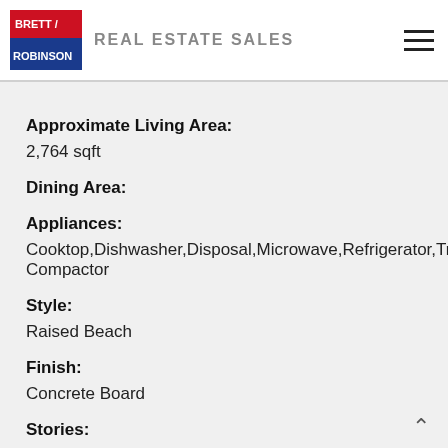BRETT / ROBINSON REAL ESTATE SALES
Approximate Living Area:
2,764 sqft
Dining Area:
Appliances:
Cooktop,Dishwasher,Disposal,Microwave,Refrigerator,Trash Compactor
Style:
Raised Beach
Finish:
Concrete Board
Stories: